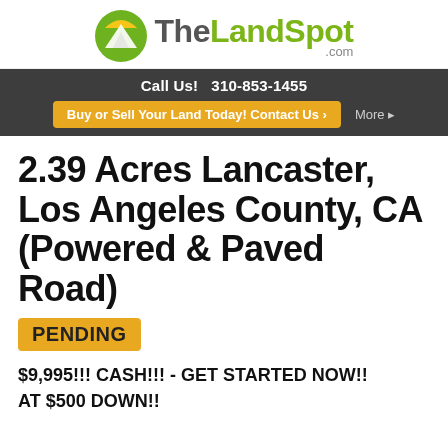[Figure (logo): TheLandSpot.com logo with mountain/sun circle icon and green/gray text]
Call Us! 310-853-1455
Buy or Sell Your Land Today! Contact Us ›  More ▸
2.39 Acres Lancaster, Los Angeles County, CA (Powered & Paved Road)
PENDING
$9,995!!! CASH!!! - GET STARTED NOW!! AT $500 DOWN!!